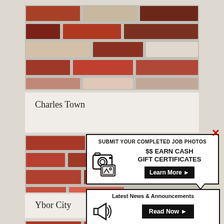[Figure (photo): Close-up photo of a red brick wall pattern, showing multiple rows of variously colored bricks in red, brown, and rust tones with white mortar joints. Labeled 'Charles Town'.]
Charles Town
[Figure (photo): Close-up photo of a red brick wall pattern similar to above. Has overlay popups for 'Submit Your Completed Job Photos' and 'Latest News & Announcements'. Labeled 'Ybor City'.]
Ybor City
[Figure (infographic): Popup overlay with camera/photo icons: 'SUBMIT YOUR COMPLETED JOB PHOTOS — $$ EARN CASH GIFT CERTIFICATES — Learn More ▶' with a red X close button.]
[Figure (infographic): Popup overlay with megaphone/announcement icon: 'Latest News & Announcements — Read Now ▶']